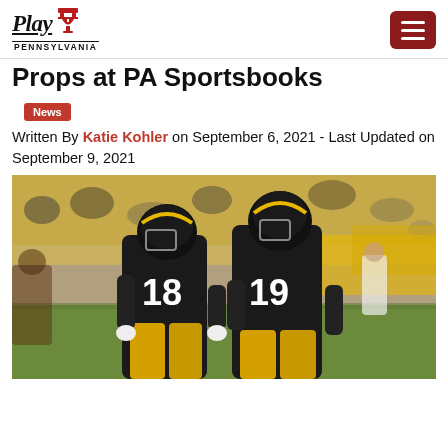Play Pennsylvania
Props at PA Sportsbooks
News
Written By Katie Kohler on September 6, 2021 - Last Updated on September 9, 2021
[Figure (photo): Two Pittsburgh Steelers players wearing black jerseys numbered 18 and 19 on a football field with yellow stadium seats in the background and a crowd of spectators]